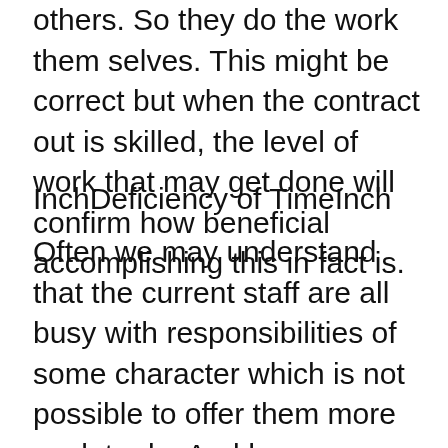others. So they do the work them selves. This might be correct but when the contract out is skilled, the level of work that may get done will confirm how beneficial accomplishing this in fact is.
InchDeficiency of TimeInch
Often we may understand that the current staff are all busy with responsibilities of some character which is not possible to offer them more work to do. And here , we should instead minimize work stress where doable by streamlining. You can easliy then give individuals work depending on their ability and experience.